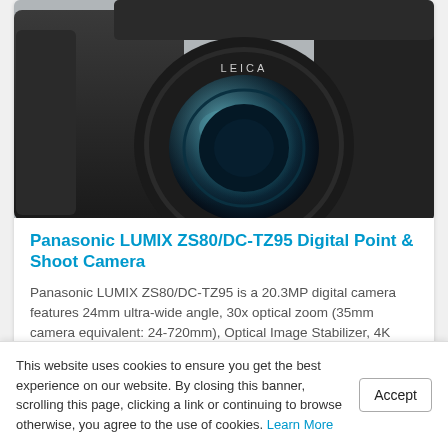[Figure (photo): Close-up photo of Panasonic LUMIX ZS80/DC-TZ95 camera with Leica lens]
Panasonic LUMIX ZS80/DC-TZ95 Digital Point & Shoot Camera
Panasonic LUMIX ZS80/DC-TZ95 is a 20.3MP digital camera features 24mm ultra-wide angle, 30x optical zoom (35mm camera equivalent: 24-720mm), Optical Image Stabilizer, 4K video, 3.0-inch tiltable rear monitor.
04/18/2019   Buy from Amazon.com
This website uses cookies to ensure you get the best experience on our website. By closing this banner, scrolling this page, clicking a link or continuing to browse otherwise, you agree to the use of cookies. Learn More